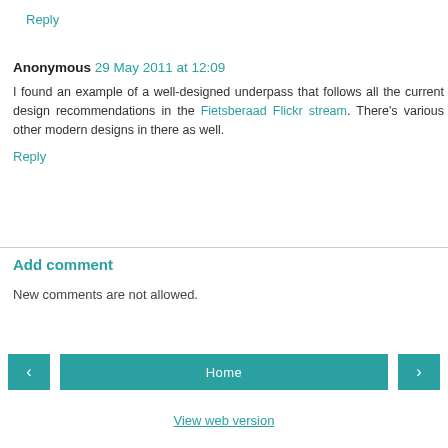Reply
Anonymous 29 May 2011 at 12:09
I found an example of a well-designed underpass that follows all the current design recommendations in the Fietsberaad Flickr stream. There's various other modern designs in there as well.
Reply
Add comment
New comments are not allowed.
< Home > View web version